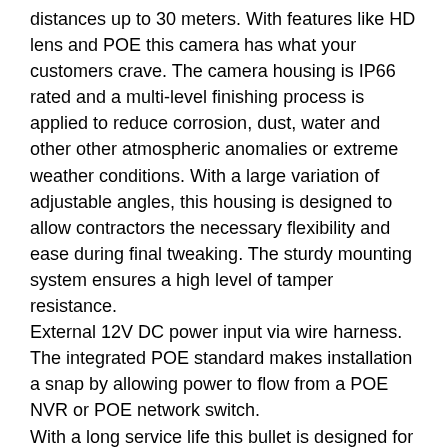distances up to 30 meters. With features like HD lens and POE this camera has what your customers crave. The camera housing is IP66 rated and a multi-level finishing process is applied to reduce corrosion, dust, water and other other atmospheric anomalies or extreme weather conditions. With a large variation of adjustable angles, this housing is designed to allow contractors the necessary flexibility and ease during final tweaking. The sturdy mounting system ensures a high level of tamper resistance.
External 12V DC power input via wire harness.
The integrated POE standard makes installation a snap by allowing power to flow from a POE NVR or POE network switch.
With a long service life this bullet is designed for monitoring any residential commercial and industrial areas
Main Features
2.0 Megapixel (1080P)
1/2.9" SONY IMX322 CMOS Sensor
Resolution:1920x1080P